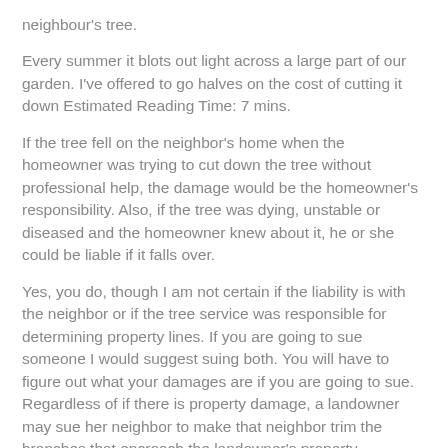neighbour's tree.
Every summer it blots out light across a large part of our garden. I've offered to go halves on the cost of cutting it down Estimated Reading Time: 7 mins.
If the tree fell on the neighbor's home when the homeowner was trying to cut down the tree without professional help, the damage would be the homeowner's responsibility. Also, if the tree was dying, unstable or diseased and the homeowner knew about it, he or she could be liable if it falls over.
Yes, you do, though I am not certain if the liability is with the neighbor or if the tree service was responsible for determining property lines. If you are going to sue someone I would suggest suing both. You will have to figure out what your damages are if you are going to sue. Regardless of if there is property damage, a landowner may sue her neighbor to make that neighbor trim the branches that encroach the landowner's property.
Serious harm caused by encroaching tree limbs or tree roots may give rise to a lawsuit."Serious harm" usually requires structural